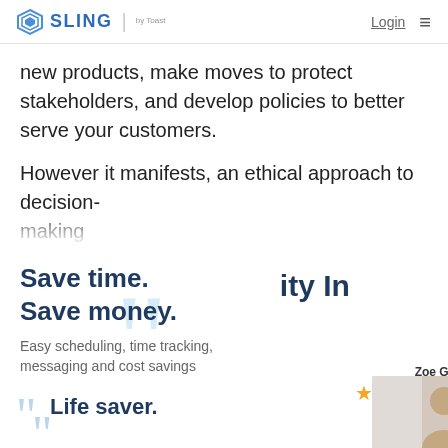SLING by Toast | Login
new products, make moves to protect stakeholders, and develop policies to better serve your customers.
However it manifests, an ethical approach to decision-making...
Save time. Save money.
ity In
Easy scheduling, time tracking, messaging and cost savings
Zoe G.
★★★★★
Life saver.